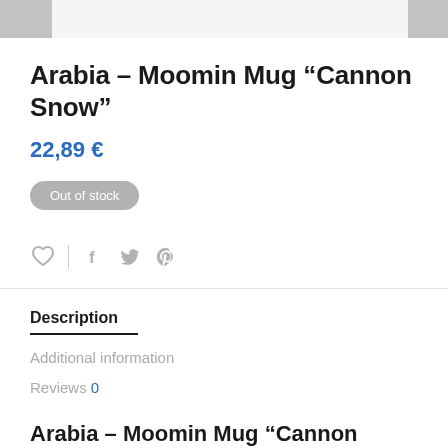Arabia – Moomin Mug “Cannon Snow”
22,89 €
Out of stock
Description
Additional information
Reviews 0
Arabia – Moomin Mug “Cannon Snow”